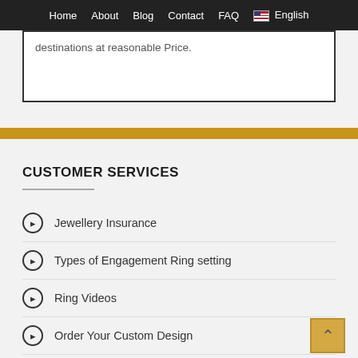Home  About  Blog  Contact  FAQ  English
destinations at reasonable Price.
CUSTOMER SERVICES
Jewellery Insurance
Types of Engagement Ring setting
Ring Videos
Order Your Custom Design
Payment Methods
SHOP ONLINE